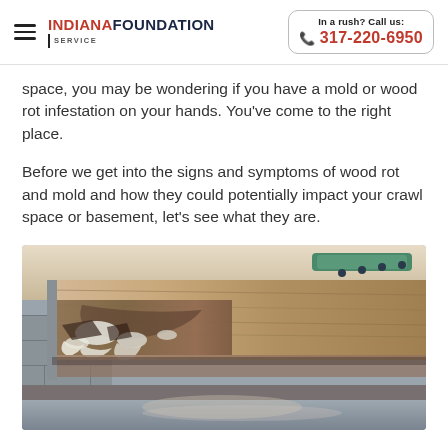Indiana Foundation Service | In a rush? Call us: 317-220-6950
space, you may be wondering if you have a mold or wood rot infestation on your hands. You’ve come to the right place.
Before we get into the signs and symptoms of wood rot and mold and how they could potentially impact your crawl space or basement, let’s see what they are.
[Figure (photo): Photo of a crawl space or basement ceiling showing wood rot damage, with deteriorated wood beams, white mold or paint flaking, and structural damage visible against a concrete block wall.]